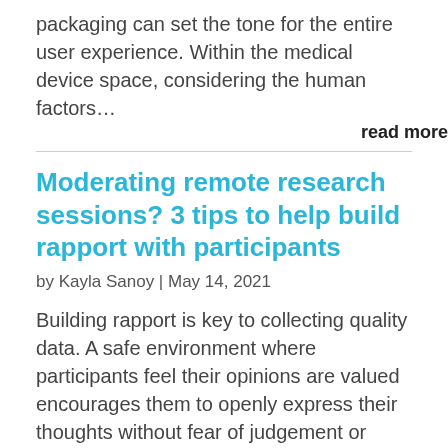packaging can set the tone for the entire user experience. Within the medical device space, considering the human factors...
read more
Moderating remote research sessions? 3 tips to help build rapport with participants
by Kayla Sanoy | May 14, 2021
Building rapport is key to collecting quality data. A safe environment where participants feel their opinions are valued encourages them to openly express their thoughts without fear of judgement or making mistakes. In remote sessions, the layer of technology between the moderator and participant...
read more
3 tips to successfully onboard in a